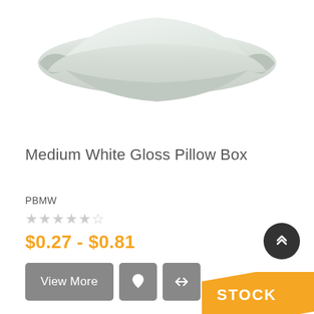[Figure (photo): Medium White Gloss Pillow Box product photo on white background — a white glossy pillow-shaped gift box viewed from a slight angle]
Medium White Gloss Pillow Box
PBMW
★★★★★ (star rating)
$0.27 - $0.81
View More
STOCK